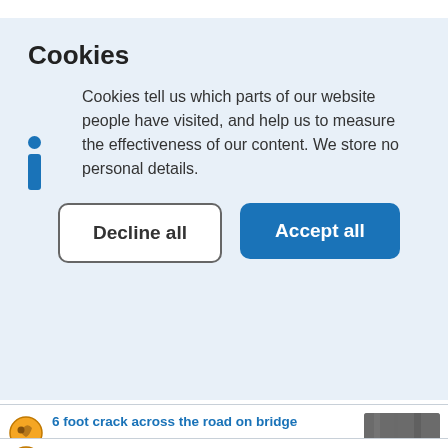Cookies
Cookies tell us which parts of our website people have visited, and help us to measure the effectiveness of our content. We store no personal details.
Decline all   Accept all
6 foot crack across the road on bridge
Reported 3 days ago, 3.0km, last updated 3 days ago
Overgrown hedgerow obscuring view of road
11:51, 11 Jul 2022, 3.5km, last updated 19 days ago